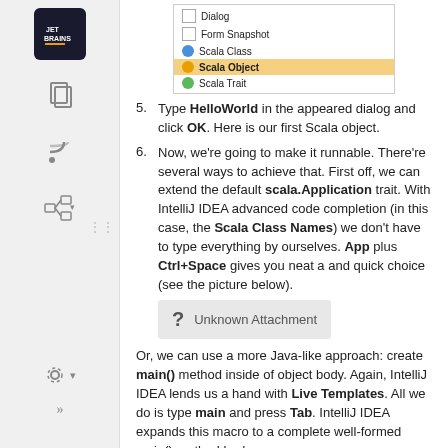[Figure (screenshot): Dropdown menu showing options: Dialog, Form Snapshot, Scala Class (with blue icon), Scala Object highlighted in orange/yellow, Scala Trait (with green icon)]
Type HelloWorld in the appeared dialog and click OK. Here is our first Scala object.
Now, we're going to make it runnable. There're several ways to achieve that. First off, we can extend the default scala.Application trait. With IntelliJ IDEA advanced code completion (in this case, the Scala Class Names) we don't have to type everything by ourselves. App plus Ctrl+Space gives you neat a and quick choice (see the picture below).
[Figure (screenshot): Unknown Attachment placeholder with question mark icon]
Or, we can use a more Java-like approach: create main() method inside of object body. Again, IntelliJ IDEA lends us a hand with Live Templates. All we do is type main and press Tab. IntelliJ IDEA expands this macro to a complete well-formed main() method body.
[Figure (screenshot): Unknown Attachment placeholder with question mark icon]